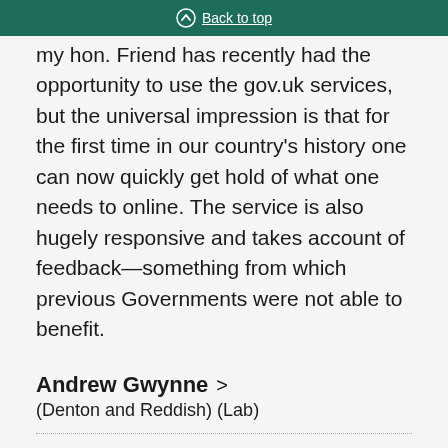Back to top
my hon. Friend has recently had the opportunity to use the gov.uk services, but the universal impression is that for the first time in our country's history one can now quickly get hold of what one needs to online. The service is also hugely responsive and takes account of feedback—something from which previous Governments were not able to benefit.
Andrew Gwynne
(Denton and Reddish) (Lab)
T3. The Minister for transparency does talk some utter guff sometimes. How can he be the advocate-in-chief for transparency when his Department has the worst record in answering freedom of information requests? (Unique identification number